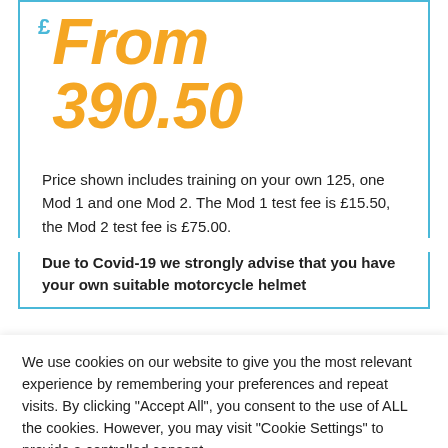£From 390.50
Price shown includes training on your own 125, one Mod 1 and one Mod 2. The Mod 1 test fee is £15.50, the Mod 2 test fee is £75.00.
Due to Covid-19 we strongly advise that you have your own suitable motorcycle helmet
We use cookies on our website to give you the most relevant experience by remembering your preferences and repeat visits. By clicking "Accept All", you consent to the use of ALL the cookies. However, you may visit "Cookie Settings" to provide a controlled consent.